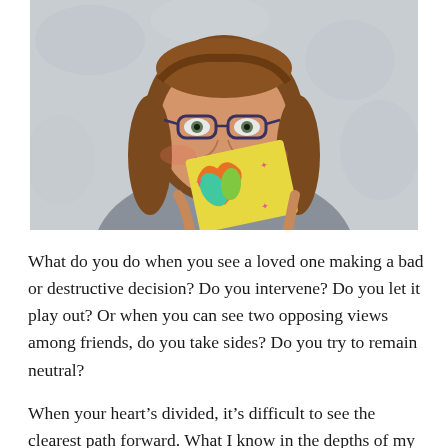[Figure (photo): A smiling woman with glasses and medium-length brown hair wearing a gray top, holding up a yellow card with a hand-drawn orange heart containing two green leaf/teardrop shapes, with pink star-like marks around it. Background is a light gray/white textured wall.]
What do you do when you see a loved one making a bad or destructive decision? Do you intervene? Do you let it play out? Or when you can see two opposing views among friends, do you take sides? Do you try to remain neutral?
When your heart's divided, it's difficult to see the clearest path forward. What I know in the depths of my soul is